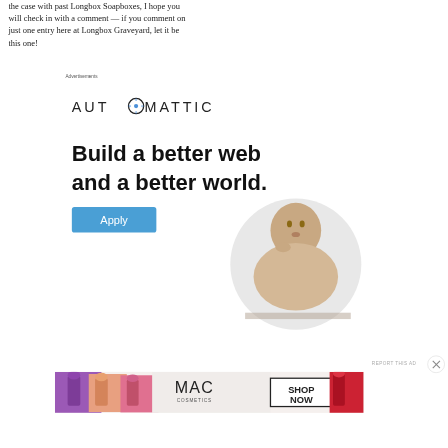the case with past Longbox Soapboxes, I hope you will check in with a comment — if you comment on just one entry here at Longbox Graveyard, let it be this one!
Advertisements
[Figure (illustration): Automattic advertisement: logo text 'AUTOMATTIC' with a compass/target icon replacing the O, bold headline 'Build a better web and a better world.', a blue Apply button, and a circular photo of a man thinking at a desk.]
Advertisements
[Figure (photo): MAC Cosmetics advertisement showing colorful lipsticks (purple, peach, pink, red) with MAC logo and 'SHOP NOW' text in a box.]